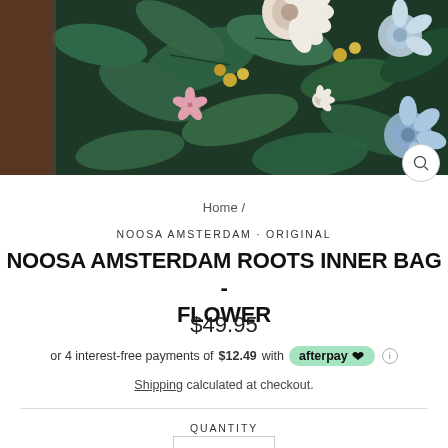[Figure (photo): Floral patterned inner bag from Noosa Amsterdam, showing colorful botanical/floral fabric with dark green, blue, pink, white flowers and leaves, with brown leather edge visible on left side]
Home /
NOOSA AMSTERDAM - ORIGINAL
NOOSA AMSTERDAM ROOTS INNER BAG - FLOWER
$49.95
or 4 interest-free payments of $12.49 with afterpay
Shipping calculated at checkout.
QUANTITY